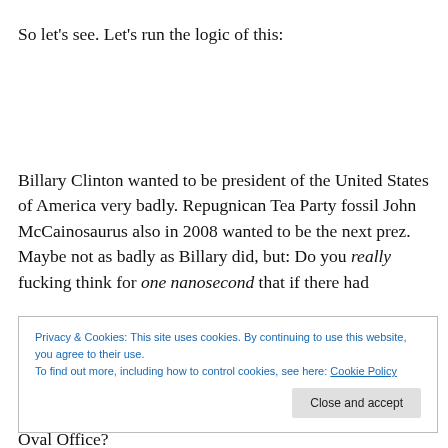So let's see. Let's run the logic of this:
Billary Clinton wanted to be president of the United States of America very badly. Repugnican Tea Party fossil John McCainosaurus also in 2008 wanted to be the next prez. Maybe not as badly as Billary did, but: Do you really fucking think for one nanosecond that if there had
Privacy & Cookies: This site uses cookies. By continuing to use this website, you agree to their use.
To find out more, including how to control cookies, see here: Cookie Policy
Oval Office?